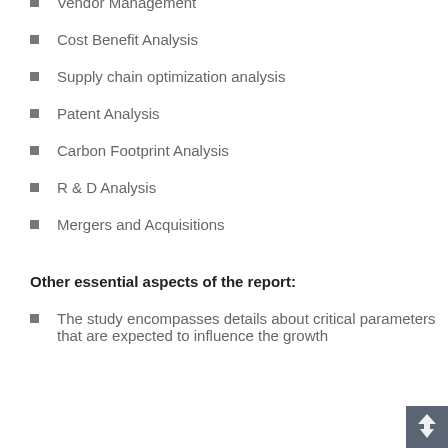Vendor Management
Cost Benefit Analysis
Supply chain optimization analysis
Patent Analysis
Carbon Footprint Analysis
R & D Analysis
Mergers and Acquisitions
Other essential aspects of the report:
The study encompasses details about critical parameters that are expected to influence the growth